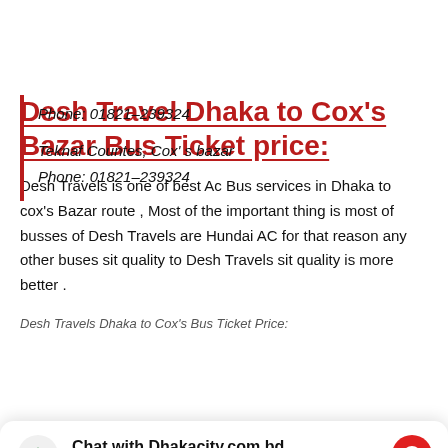Phone: 01821-239324
Teknaf Countes, Cox's bazar
Phone: 01821-239324
Desh Travel Dhaka to Cox's Bazar Bus Ticket price:
Desh Travels is one of best Ac Bus services in Dhaka to cox's Bazar route , Most of the important thing is most of busses of Desh Travels are Hundai AC for that reason any other buses sit quality to Desh Travels sit quality is more better .
Desh Travels Dhaka to Cox's Bus Ticket Price:
Chat with Dhakacity.com.bd
Cox's Bazar Ticket Price